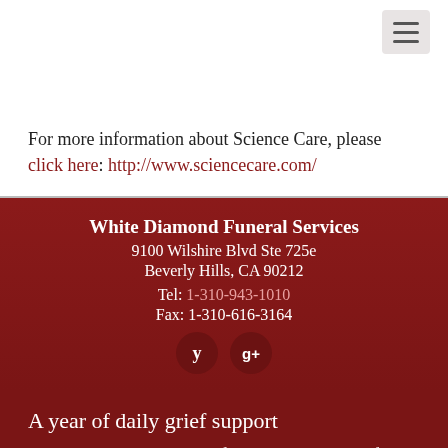For more information about Science Care, please click here: http://www.sciencecare.com/
White Diamond Funeral Services
9100 Wilshire Blvd Ste 725e
Beverly Hills, CA 90212
Tel: 1-310-943-1010
Fax: 1-310-616-3164
[Figure (other): Social media icons: Yelp and Google+ circular buttons]
A year of daily grief support
Our support in your time of need does not end after the funeral services. Enter your email below to receive a grief support message from us each day for